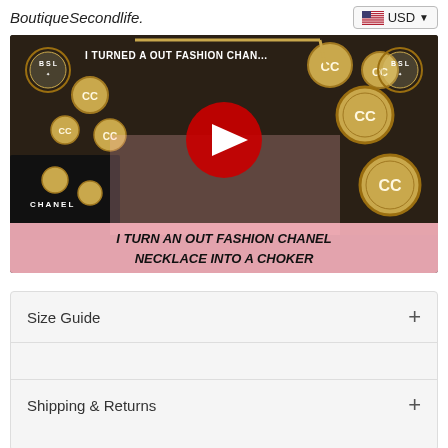BoutiqueSecondlife.
[Figure (screenshot): YouTube video thumbnail showing gold Chanel necklaces and a black Chanel box. Title overlay reads 'I TURN AN OUT FASHION CHANEL NECKLACE INTO A CHOKER'. Top bar shows 'I TURNED A OUT FASHION CHAN...' with YouTube play button in center. BSL logos in top-left and top-right corners.]
Size Guide
Shipping & Returns